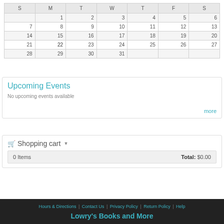| S | M | T | W | T | F | S |
| --- | --- | --- | --- | --- | --- | --- |
|  | 1 | 2 | 3 | 4 | 5 | 6 |
| 7 | 8 | 9 | 10 | 11 | 12 | 13 |
| 14 | 15 | 16 | 17 | 18 | 19 | 20 |
| 21 | 22 | 23 | 24 | 25 | 26 | 27 |
| 28 | 29 | 30 | 31 |  |  |  |
Upcoming Events
No upcoming events available
more
Shopping cart
0 Items   Total: $0.00
Hours & Directions | Contact Us | Privacy Policy | Return Policy | Help
Lowry's Books and More